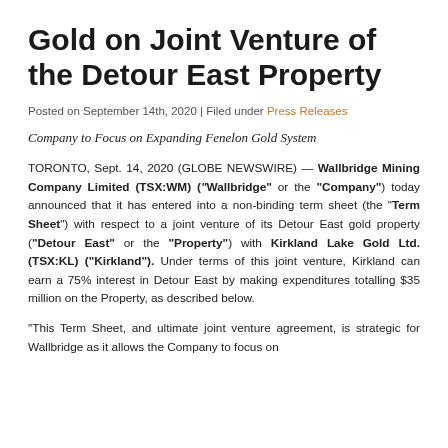Gold on Joint Venture of the Detour East Property
Posted on September 14th, 2020 | Filed under Press Releases
Company to Focus on Expanding Fenelon Gold System
TORONTO, Sept. 14, 2020 (GLOBE NEWSWIRE) — Wallbridge Mining Company Limited (TSX:WM) ("Wallbridge" or the "Company") today announced that it has entered into a non-binding term sheet (the "Term Sheet") with respect to a joint venture of its Detour East gold property ("Detour East" or the "Property") with Kirkland Lake Gold Ltd. (TSX:KL) ("Kirkland"). Under terms of this joint venture, Kirkland can earn a 75% interest in Detour East by making expenditures totalling $35 million on the Property, as described below.
"This Term Sheet, and ultimate joint venture agreement, is strategic for Wallbridge as it allows the Company to focus on